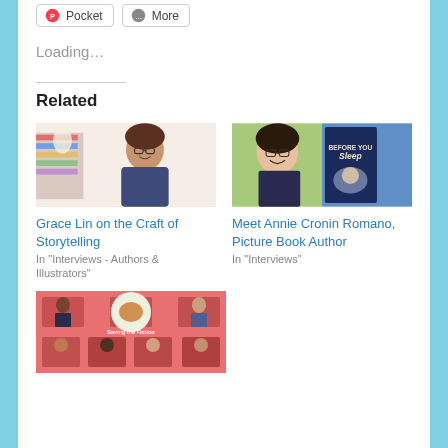[Figure (other): Pocket share button]
[Figure (other): More share button]
Loading…
Related
[Figure (photo): Grace Lin standing in her studio surrounded by colorful shelves]
Grace Lin on the Craft of Storytelling
In "Interviews - Authors & Illustrators"
[Figure (photo): Annie Cronin Romano smiling, with book cover 'Before You Sleep' beside her]
Meet Annie Cronin Romano, Picture Book Author
In "Interviews"
[Figure (photo): Group photo collage on pink/coral background with multiple authors and illustrators, text 'Saving the Fiction']